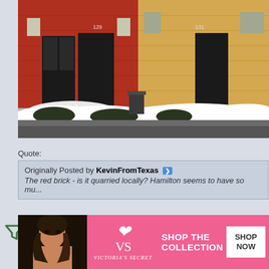[Figure (photo): Photo of a row of brick townhouses (red brick and yellow brick) along a snowy street in winter. Snow is piled along the front of the buildings and sidewalk. Address numbers 129 and 131 are visible.]
Quote:
Originally Posted by KevinFromTexas
The red brick - is it quarried locally? Hamilton seems to have so mu...
I don't know for certain, but the red-orange colour of the brick here most... Hamilton... erent type... have p... s.
[Figure (photo): Victoria's Secret advertisement banner with a woman's photo on the left, VS logo, and 'SHOP THE COLLECTION' text with a 'SHOP NOW' button.]